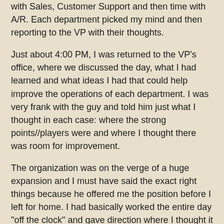with Sales, Customer Support and then time with A/R. Each department picked my mind and then reporting to the VP with their thoughts.
Just about 4:00 PM, I was returned to the VP’s office, where we discussed the day, what I had learned and what ideas I had that could help improve the operations of each department. I was very frank with the guy and told him just what I thought in each case: where the strong points//players were and where I thought there was room for improvement.
The organization was on the verge of a huge expansion and I must have said the exact right things because he offered me the position before I left for home. I had basically worked the entire day “off the clock” and gave direction where I thought it was needed. I had met and passed the “can we work together” test with a wide variety of the organization’s vice presidents, directors, managers and supervisors. I had made my thoughts and ability to think ‘on my feet” very evident. I passed the test; good thing I was wide awake when I arrived there.
This is probably one of the best methods of working out a